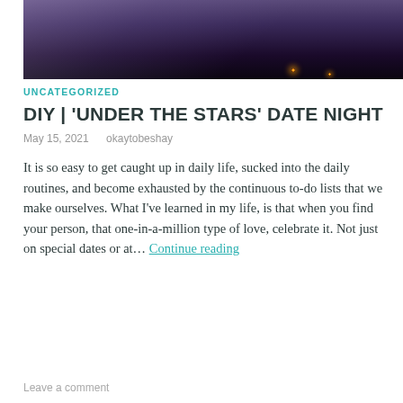[Figure (photo): Dark bedroom photo with purple/violet lighting, a bed with purple bedding, and small candle lights glowing on the floor]
UNCATEGORIZED
DIY | ‘UNDER THE STARS’ DATE NIGHT
May 15, 2021   okaytobeshay
It is so easy to get caught up in daily life, sucked into the daily routines, and become exhausted by the continuous to-do lists that we make ourselves. What I’ve learned in my life, is that when you find your person, that one-in-a-million type of love, celebrate it. Not just on special dates or at… Continue reading
Leave a comment